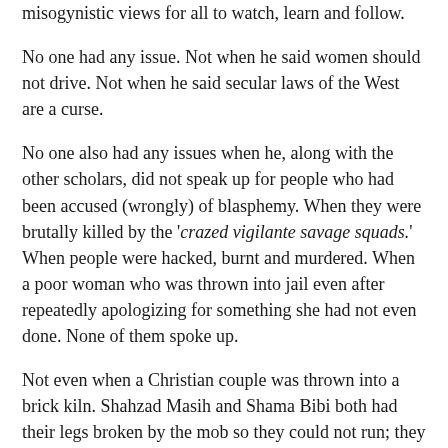misogynistic views for all to watch, learn and follow.
No one had any issue. Not when he said women should not drive. Not when he said secular laws of the West are a curse.
No one also had any issues when he, along with the other scholars, did not speak up for people who had been accused (wrongly) of blasphemy. When they were brutally killed by the 'crazed vigilante savage squads.' When people were hacked, burnt and murdered. When a poor woman who was thrown into jail even after repeatedly apologizing for something she had not even done. None of them spoke up.
Not even when a Christian couple was thrown into a brick kiln. Shahzad Masih and Shama Bibi both had their legs broken by the mob so they could not run; they were dragged by a tractor, then thrown into the brick kiln. When the four-month pregnant woman did not burn properly, she was pulled out and wrapped in a cotton cloth before being thrown back in so she